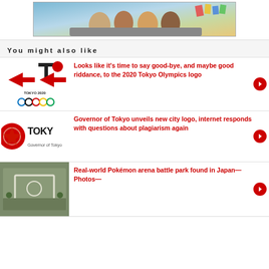[Figure (photo): Advertisement banner showing group of young people in a car with colorful flags]
You might also like
[Figure (logo): Tokyo 2020 Olympics logo with red arrows pointing to it]
Looks like it's time to say good-bye, and maybe good riddance, to the 2020 Tokyo Olympics logo
[Figure (logo): Tokyo city logo text in black with red circular emblem]
Governor of Tokyo unveils new city logo, internet responds with questions about plagiarism again
[Figure (photo): Aerial photo of a Pokémon arena battle park in Japan]
Real-world Pokémon arena battle park found in Japan—Photos—